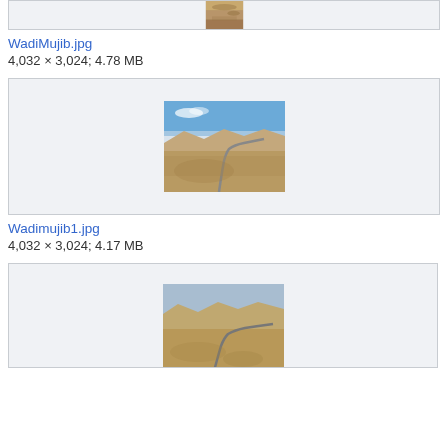[Figure (photo): Partial top crop of a desert landscape photo, showing rocky terrain]
WadiMujib.jpg
4,032 × 3,024; 4.78 MB
[Figure (photo): Aerial photo of Wadi Mujib canyon in Jordan showing winding road through desert landscape with blue sky]
Wadimujib1.jpg
4,032 × 3,024; 4.17 MB
[Figure (photo): Partial view of another Wadi Mujib aerial photo showing winding road in desert canyon]